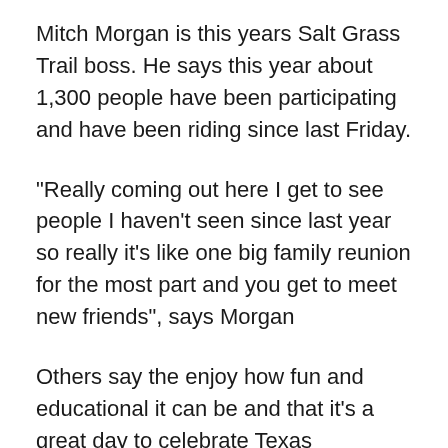Mitch Morgan is this years Salt Grass Trail boss. He says this year about 1,300 people have been participating and have been riding since last Friday.
"Really coming out here I get to see people I haven't seen since last year so really it's like one big family reunion for the most part and you get to meet new friends", says Morgan
Others say the enjoy how fun and educational it can be and that it's a great day to celebrate Texas Independence Day.
"They read about it, see it on tv but they never actually get to experience it in person so I love that we get to